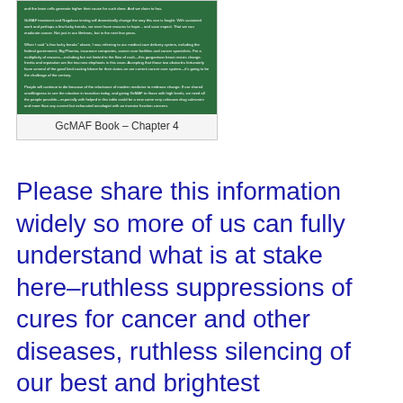[Figure (screenshot): Screenshot of a page from GcMAF Book Chapter 4, showing green-background text about GcMAF treatment and Nagalase testing]
GcMAF Book – Chapter 4
Please share this information widely so more of us can fully understand what is at stake here–ruthless suppressions of cures for cancer and other diseases, ruthless silencing of our best and brightest researchers and healers who challenge the status quo–we shouldn't stand for it.